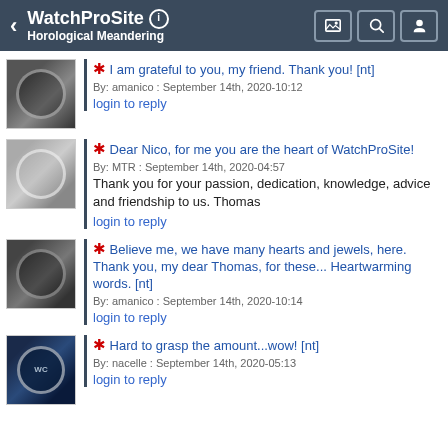WatchProSite - Horological Meandering
* I am grateful to you, my friend. Thank you! [nt]
By: amanico : September 14th, 2020-10:12
login to reply
* Dear Nico, for me you are the heart of WatchProSite!
By: MTR : September 14th, 2020-04:57
Thank you for your passion, dedication, knowledge, advice and friendship to us. Thomas
login to reply
* Believe me, we have many hearts and jewels, here. Thank you, my dear Thomas, for these... Heartwarming words. [nt]
By: amanico : September 14th, 2020-10:14
login to reply
* Hard to grasp the amount...wow! [nt]
By: nacelle : September 14th, 2020-05:13
login to reply